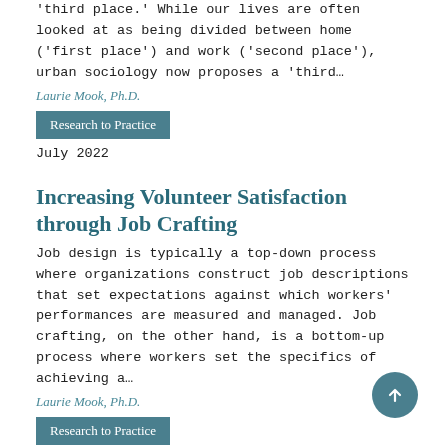'third place.' While our lives are often looked at as being divided between home ('first place') and work ('second place'), urban sociology now proposes a 'third…
Laurie Mook, Ph.D.
Research to Practice
July 2022
Increasing Volunteer Satisfaction through Job Crafting
Job design is typically a top-down process where organizations construct job descriptions that set expectations against which workers' performances are measured and managed. Job crafting, on the other hand, is a bottom-up process where workers set the specifics of achieving a…
Laurie Mook, Ph.D.
Research to Practice
April 2022